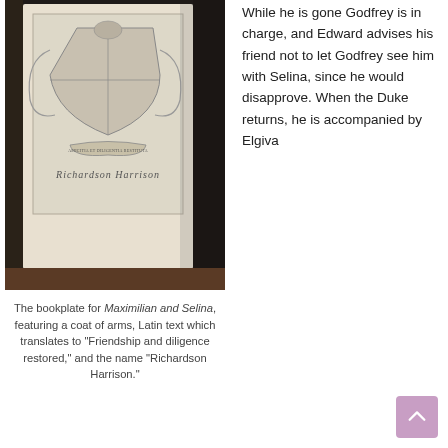[Figure (photo): A photograph of an open book showing a bookplate with a coat of arms, Latin text, and the name 'Richardson Harrison' in script lettering, inside a dark leather binding.]
The bookplate for Maximilian and Selina, featuring a coat of arms, Latin text which translates to "Friendship and diligence restored," and the name "Richardson Harrison."
While he is gone Godfrey is in charge, and Edward advises his friend not to let Godfrey see him with Selina, since he would disapprove. When the Duke returns, he is accompanied by Elgiva